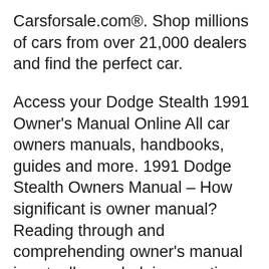Carsforsale.com®. Shop millions of cars from over 21,000 dealers and find the perfect car.
Access your Dodge Stealth 1991 Owner's Manual Online All car owners manuals, handbooks, guides and more. 1991 Dodge Stealth Owners Manual – How significant is owner manual? Reading through and comprehending owner's manual is actually needed, irrespective the truth that lots of people usually dismiss it. Automakers enclose manual for each purchase for a ...
Download Dodge Stealth 1991 Service Repair Manual Download book pdf free download link or read online here in